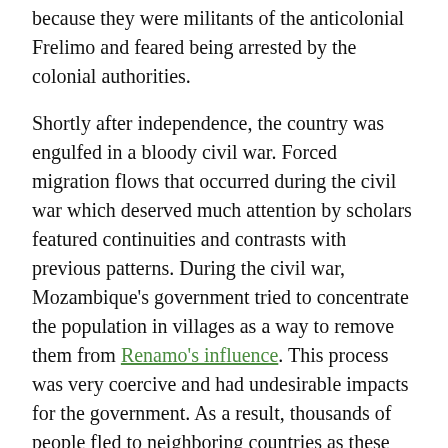because they were militants of the anticolonial Frelimo and feared being arrested by the colonial authorities.
Shortly after independence, the country was engulfed in a bloody civil war. Forced migration flows that occurred during the civil war which deserved much attention by scholars featured continuities and contrasts with previous patterns. During the civil war, Mozambique's government tried to concentrate the population in villages as a way to remove them from Renamo's influence. This process was very coercive and had undesirable impacts for the government. As a result, thousands of people fled to neighboring countries as these settlements were created. Also Renamo forced exodus to South Africa or Eswatini as it feared people would inform government soldiers of its guerillas' whereabouts. Renamo relied on guides who provided safe passage for those willingly wanted to leave the country either to Eswatini or South Africa. Such guides